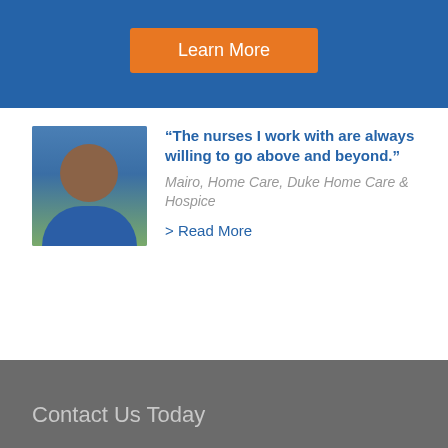[Figure (photo): Blue banner background with Learn More button]
Learn More
[Figure (photo): Portrait photo of Mairo, a nurse from Duke Home Care & Hospice, smiling woman in blue top]
“The nurses I work with are always willing to go above and beyond.”
Mairo, Home Care, Duke Home Care & Hospice
> Read More
Contact Us Today